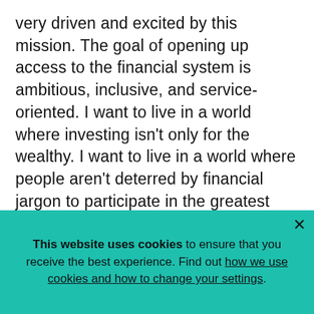very driven and excited by this mission. The goal of opening up access to the financial system is ambitious, inclusive, and service-oriented. I want to live in a world where investing isn't only for the wealthy. I want to live in a world where people aren't deterred by financial jargon to participate in the greatest tool for generational wealth. And I want to live in a world where women are participating as actively as men.
What consumes the majority of your mental space during the day?
This website uses cookies to ensure that you receive the best experience. Find out how we use cookies and how to change your settings.